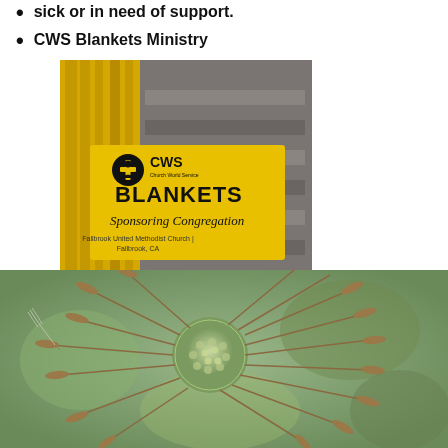sick or in need of support.
CWS Blankets Ministry
[Figure (photo): CWS Blankets Sponsoring Congregation photo — yellow and grey blankets stacked, with a yellow banner reading CWS Blankets Sponsoring Congregation, Fallbrook United Methodist Church | Fallbrook, CA]
[Figure (photo): Close-up macro photo of a dandelion seed head (globe) with seeds partially dispersed, on a blurred green background]